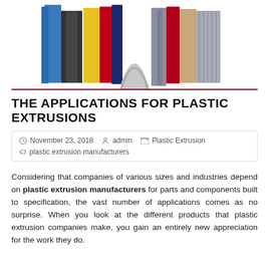[Figure (photo): Colorful plastic extrusion shapes and profiles in various colors including blue, red, yellow, gray, and beige, arranged in a group]
THE APPLICATIONS FOR PLASTIC EXTRUSIONS
November 23, 2018   admin   Plastic Extrusion   plastic extrusion manufacturers
Considering that companies of various sizes and industries depend on plastic extrusion manufacturers for parts and components built to specification, the vast number of applications comes as no surprise. When you look at the different products that plastic extrusion companies make, you gain an entirely new appreciation for the work they do.